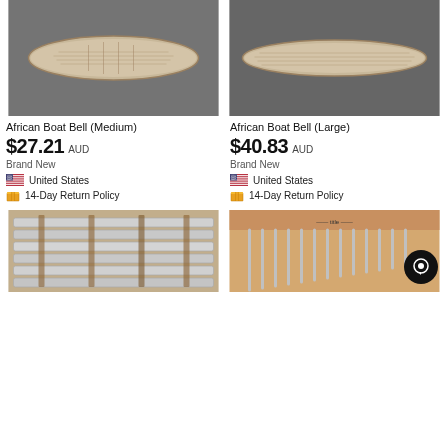[Figure (photo): African Boat Bell (Medium) - a wooden boat-shaped bell on grey fabric background]
[Figure (photo): African Boat Bell (Large) - a wooden boat-shaped bell on grey fabric background]
African Boat Bell (Medium)
African Boat Bell (Large)
$27.21 AUD
Brand New
United States
14-Day Return Policy
$40.83 AUD
Brand New
United States
14-Day Return Policy
[Figure (photo): Metallic xylophone/marimba bars on wooden frame]
[Figure (photo): Chime/kalimba instrument with metal tines on wooden board]